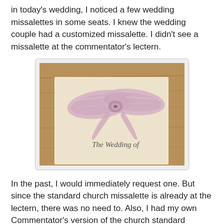in today's wedding, I noticed a few wedding missalettes in some seats. I knew the wedding couple had a customized missalette. I didn't see a missalette at the commentator's lectern.
[Figure (photo): A cream/ivory colored wedding missalette booklet with a pink satin ribbon bow tied around it. The text 'The Wedding of' is printed in italic font on the cover. The booklet rests on a wooden surface.]
In the past, I would immediately request one. But since the standard church missalette is already at the lectern, there was no need to. Also, I had my own Commentator's version of the church standard wedding missalette.